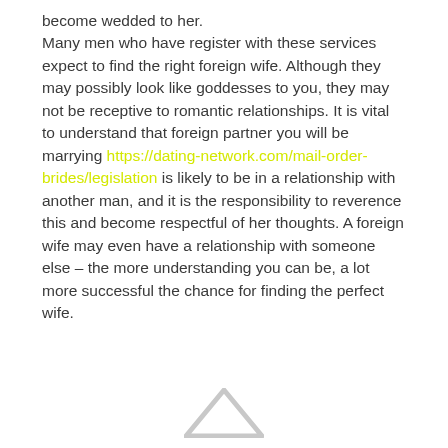become wedded to her.

Many men who have register with these services expect to find the right foreign wife. Although they may possibly look like goddesses to you, they may not be receptive to romantic relationships. It is vital to understand that foreign partner you will be marrying https://dating-network.com/mail-order-brides/legislation is likely to be in a relationship with another man, and it is the responsibility to reverence this and become respectful of her thoughts. A foreign wife may even have a relationship with someone else – the more understanding you can be, a lot more successful the chance for finding the perfect wife.
[Figure (logo): Partial logo/icon at bottom center of page, showing a light gray triangular/house shape]